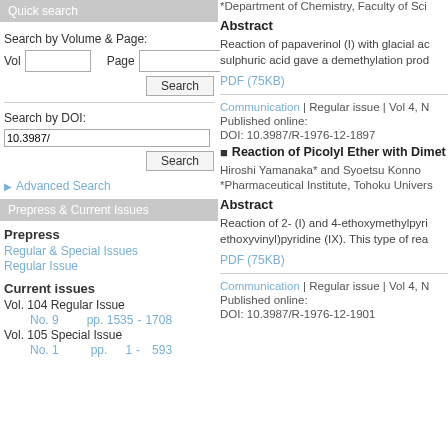Quick search
Search by Volume & Page:
Vol   Page   Search
Search by DOI:
10.3987/   Search
Advanced Search
Prepress & Current Issues
Prepress
Regular & Special Issues
Regular Issue
Current issues
Vol. 104 Regular Issue
No. 9   pp. 1535  -  1708
Vol. 105 Special Issue
No. 1   pp.  1  -  593
*Department of Chemistry, Faculty of Sci
Abstract
Reaction of papaverinol (I) with glacial ac sulphuric acid gave a demethylation prod
PDF (75KB)
Communication | Regular issue | Vol 4, N
Published online:
DOI: 10.3987/R-1976-12-1897
Reaction of Picolyl Ether with Dimet
Hiroshi Yamanaka* and Syoetsu Konno
*Pharmaceutical Institute, Tohoku Univers
Abstract
Reaction of 2- (I) and 4-ethoxymethylpyri ethoxyvinyl)pyridine (IX). This type of rea
PDF (75KB)
Communication | Regular issue | Vol 4, N
Published online:
DOI: 10.3987/R-1976-12-1901